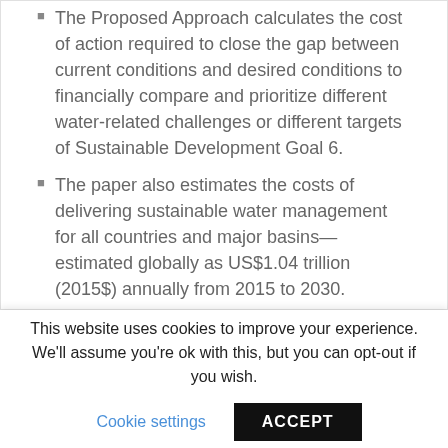The Proposed Approach calculates the cost of action required to close the gap between current conditions and desired conditions to financially compare and prioritize different water-related challenges or different targets of Sustainable Development Goal 6.
The paper also estimates the costs of delivering sustainable water management for all countries and major basins—estimated globally as US$1.04 trillion (2015$) annually from 2015 to 2030.
The Proposed Approach and Estimated Cost data set were designed for private sector
This website uses cookies to improve your experience. We'll assume you're ok with this, but you can opt-out if you wish.